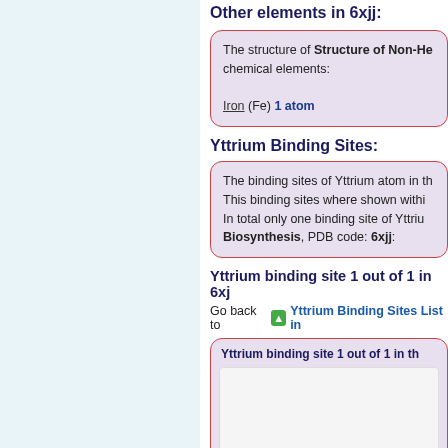Other elements in 6xjj:
The structure of Structure of Non-He chemical elements: Iron (Fe) 1 atom
Yttrium Binding Sites:
The binding sites of Yttrium atom in th This binding sites where shown withi In total only one binding site of Yttriu Biosynthesis, PDB code: 6xjj:
Yttrium binding site 1 out of 1 in 6xjj
Go back to Yttrium Binding Sites List in
Yttrium binding site 1 out of 1 in th
[Figure (photo): Molecular structure image showing red protein/molecule shape]